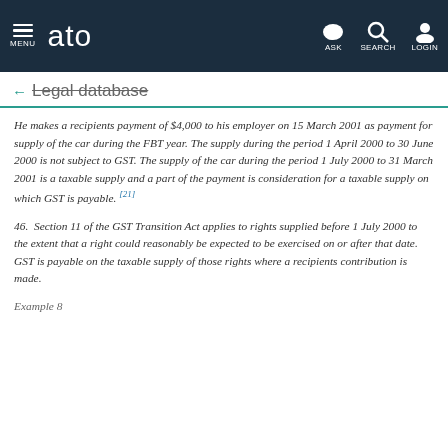MENU | ato | ASK | SEARCH | LOGIN
Legal database
He makes a recipients payment of $4,000 to his employer on 15 March 2001 as payment for supply of the car during the FBT year. The supply during the period 1 April 2000 to 30 June 2000 is not subject to GST. The supply of the car during the period 1 July 2000 to 31 March 2001 is a taxable supply and a part of the payment is consideration for a taxable supply on which GST is payable. [21]
46. Section 11 of the GST Transition Act applies to rights supplied before 1 July 2000 to the extent that a right could reasonably be expected to be exercised on or after that date. GST is payable on the taxable supply of those rights where a recipients contribution is made.
Example 8